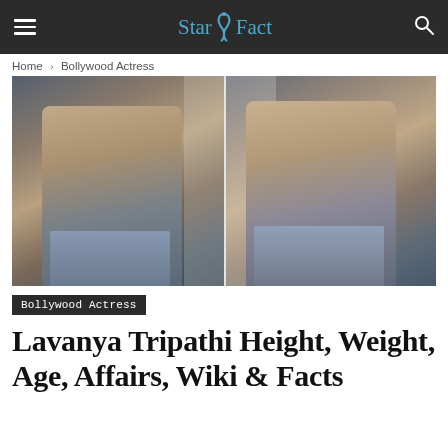StarSFact
Home › Bollywood Actress
[Figure (photo): Two side-by-side photos of Lavanya Tripathi posing in a white crop top and jeans against a curtain backdrop]
Bollywood Actress
Lavanya Tripathi Height, Weight, Age, Affairs, Wiki & Facts